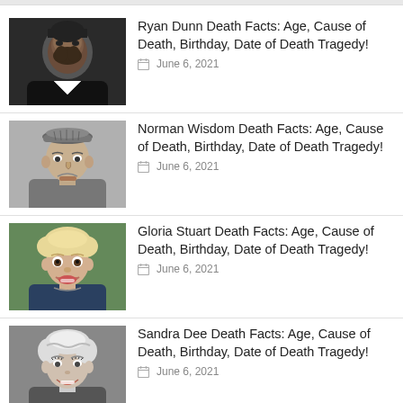[Figure (photo): Photo of Ryan Dunn, bearded man with dark hair]
Ryan Dunn Death Facts: Age, Cause of Death, Birthday, Date of Death Tragedy!
June 6, 2021
[Figure (photo): Black and white photo of Norman Wisdom wearing a flat cap, making a comic expression]
Norman Wisdom Death Facts: Age, Cause of Death, Birthday, Date of Death Tragedy!
June 6, 2021
[Figure (photo): Color photo of Gloria Stuart, elderly woman with light hair, smiling with open mouth]
Gloria Stuart Death Facts: Age, Cause of Death, Birthday, Date of Death Tragedy!
June 6, 2021
[Figure (photo): Black and white photo of Sandra Dee, young woman with styled hair, smiling]
Sandra Dee Death Facts: Age, Cause of Death, Birthday, Date of Death Tragedy!
June 6, 2021